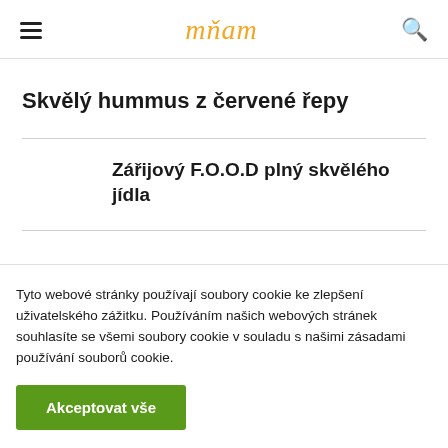mňam
Skvělý hummus z červené řepy
Zářijový F.O.O.D plný skvělého jídla
Tyto webové stránky používají soubory cookie ke zlepšení uživatelského zážitku. Používáním našich webových stránek souhlasíte se všemi soubory cookie v souladu s našimi zásadami používání souborů cookie.
Akceptovat vše